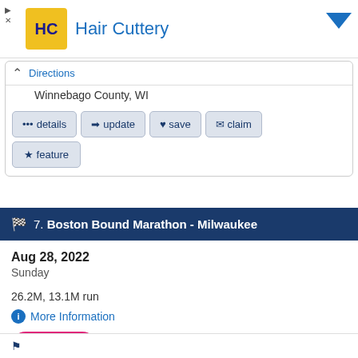[Figure (screenshot): Advertisement banner for Hair Cuttery with logo and title]
Directions
Winnebago County, WI
... details   ➤ update   ♥ save   ✉ claim   ★ feature
7. Boston Bound Marathon - Milwaukee
Aug 28, 2022
Sunday
26.2M, 13.1M run
More Information
Signup
REGISTER NOW